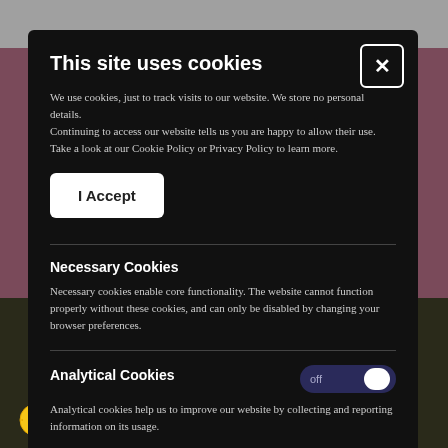[Figure (screenshot): Cookie consent modal dialog overlaid on a website showing 'Mid & East Antrim' content. The modal has a dark background with options for necessary and analytical cookies.]
This site uses cookies
We use cookies, just to track visits to our website. We store no personal details. Continuing to access our website tells us you are happy to allow their use. Take a look at our Cookie Policy or Privacy Policy to learn more.
I Accept
Necessary Cookies
Necessary cookies enable core functionality. The website cannot function properly without these cookies, and can only be disabled by changing your browser preferences.
Analytical Cookies
Analytical cookies help us to improve our website by collecting and reporting information on its usage.
Show vendors within this category